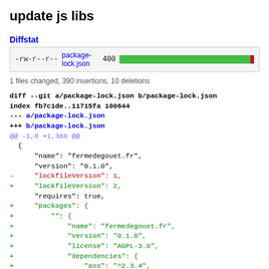update js libs
Diffstat
[Figure (infographic): Diffstat bar showing -rw-r--r-- package-lock.json 400 with a mostly green bar and small red segment]
1 files changed, 390 insertions, 10 deletions
diff --git a/package-lock.json b/package-lock.json
index fb7c1de..11715fa 100644
--- a/package-lock.json
+++ b/package-lock.json
@@ -1,8 +1,388 @@
  {
      "name": "fermedegouet.fr",
      "version": "0.1.0",
-     "lockfileVersion": 1,
+     "lockfileVersion": 2,
      "requires": true,
+     "packages": {
+         "": {
+             "name": "fermedegouet.fr",
+             "version": "0.1.0",
+             "license": "AGPL-3.0",
+             "dependencies": {
+                 "aos": "^2.3.4",
+                 "bulma": "^0.9.0",
+                 "csso-cli": "^3.0.0",